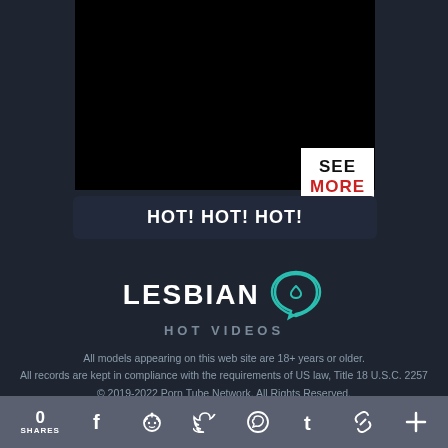[Figure (other): Black video player thumbnail area]
SEE MORE
HOT! HOT! HOT!
[Figure (logo): LESBIAN HOT VIDEOS logo with teal chat bubble heart icon]
All models appearing on this web site are 18+ years or older. All records are kept in compliance with the requirements of US law, Title 18 U.S.C. 2257 © 2019-2022 Porn Tube Network. All Rights Reserved.
0 SHARES  [Facebook] [Reddit] [Twitter] [WhatsApp] [Tumblr] [Link] [More]